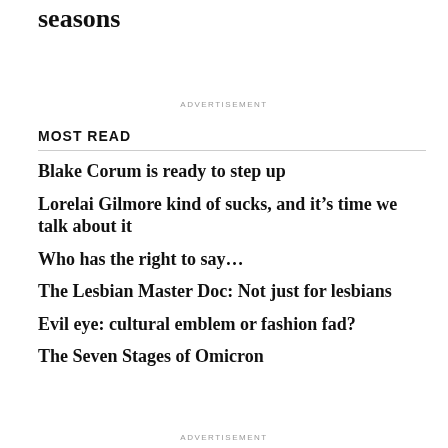seasons
ADVERTISEMENT
MOST READ
Blake Corum is ready to step up
Lorelai Gilmore kind of sucks, and it’s time we talk about it
Who has the right to say…
The Lesbian Master Doc: Not just for lesbians
Evil eye: cultural emblem or fashion fad?
The Seven Stages of Omicron
ADVERTISEMENT